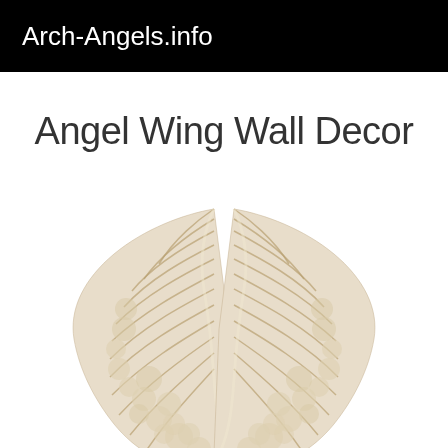Arch-Angels.info
Angel Wing Wall Decor
[Figure (photo): A pair of decorative angel wings wall decor pieces, cream/ivory colored with detailed feather texture, set against a white background]